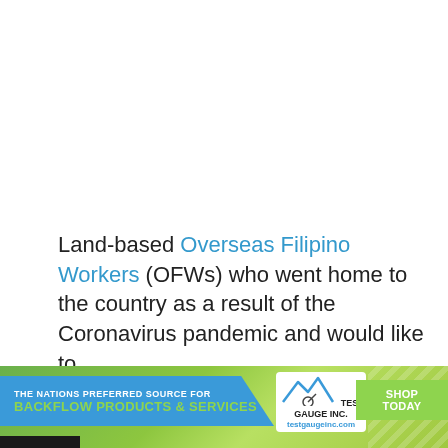Land-based Overseas Filipino Workers (OFWs) who went home to the country as a result of the Coronavirus pandemic and would like to
We use cookies on our website to give you the most relevant experience by remembering your preferences and repeat visits. By clicking “Accept”, you consent to the use of All the cookies.
[Figure (infographic): Advertisement banner for Test Gauge Inc. with text 'THE NATIONS PREFERRED SOURCE FOR BACKFLOW PRODUCTS & SERVICES' and 'SHOP TODAY' button on a green background.]